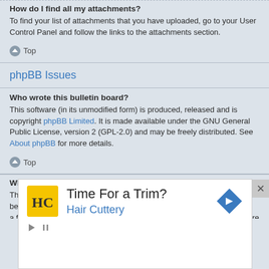How do I find all my attachments?
To find your list of attachments that you have uploaded, go to your User Control Panel and follow the links to the attachments section.
Top
phpBB Issues
Who wrote this bulletin board?
This software (in its unmodified form) is produced, released and is copyright phpBB Limited. It is made available under the GNU General Public License, version 2 (GPL-2.0) and may be freely distributed. See About phpBB for more details.
Top
Why isn't X feature available?
This software was written by and licensed through phpBB Limited. If you belie a feature needs to be added please visit the phpBB Ideas Centre, where you
[Figure (infographic): Advertisement overlay: Hair Cuttery ad with yellow logo showing HC letters, headline 'Time For a Trim?' and blue 'Hair Cuttery' subtext, with a blue diamond arrow icon. Has close X button and play/mute controls.]